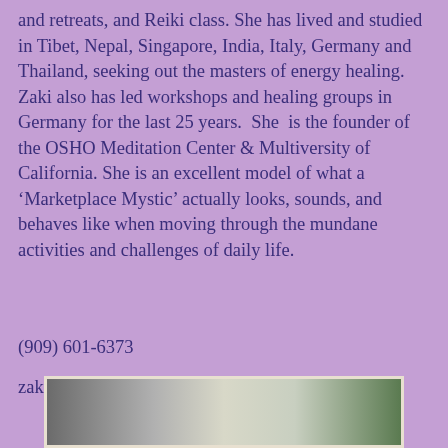and retreats, and Reiki class. She has lived and studied in Tibet, Nepal, Singapore, India, Italy, Germany and Thailand, seeking out the masters of energy healing. Zaki also has led workshops and healing groups in Germany for the last 25 years.  She  is the founder of the OSHO Meditation Center & Multiversity of California. She is an excellent model of what a ‘Marketplace Mystic’ actually looks, sounds, and behaves like when moving through the mundane activities and challenges of daily life.
(909) 601-6373
zaki_usa@hotmail.com
[Figure (photo): Partial photo at bottom of page showing what appears to be a person outdoors with greenery visible]